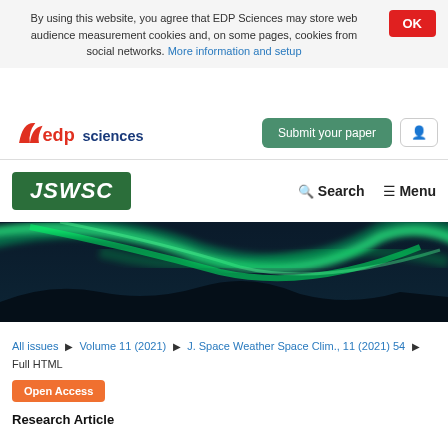By using this website, you agree that EDP Sciences may store web audience measurement cookies and, on some pages, cookies from social networks. More information and setup
[Figure (logo): EDP Sciences logo with red and blue text]
Submit your paper
[Figure (logo): JSWSC journal logo - white text on green background]
Search   Menu
[Figure (photo): Aurora borealis / northern lights over dark landscape - green glowing arcs against dark teal sky]
All issues ▶ Volume 11 (2021) ▶ J. Space Weather Space Clim., 11 (2021) 54 ▶ Full HTML
Open Access
Research Article